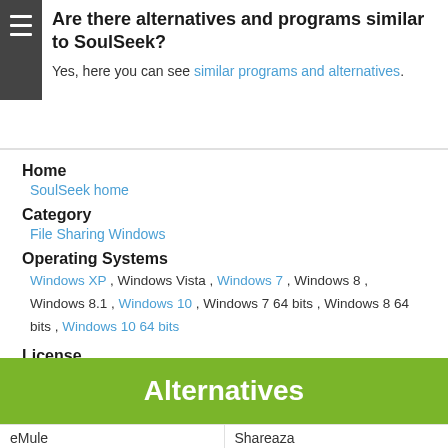Are there alternatives and programs similar to SoulSeek?
Yes, here you can see similar programs and alternatives.
Home
SoulSeek home
Category
File Sharing Windows
Operating Systems
Windows XP , Windows Vista , Windows 7 , Windows 8 , Windows 8.1 , Windows 10 , Windows 7 64 bits , Windows 8 64 bits , Windows 10 64 bits
License
Freeware
Alternatives
eMule
Shareaza